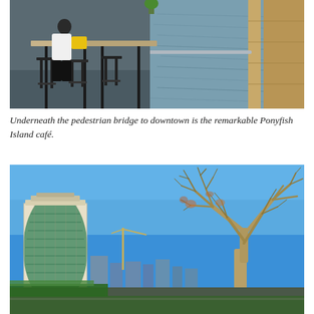[Figure (photo): Outdoor riverside café seating with black metal bar stools and wooden high tables. A person in white shirt sits at the table with a yellow bag. River water visible in background with wooden boardwalk railing.]
Underneath the pedestrian bridge to downtown is the remarkable Ponyfish Island café.
[Figure (photo): Cityscape photo showing a tall cylindrical glass and stone skyscraper on the left, bare-branched large tree on the right, under a bright blue sky. City skyline visible in background with cranes and lower buildings.]